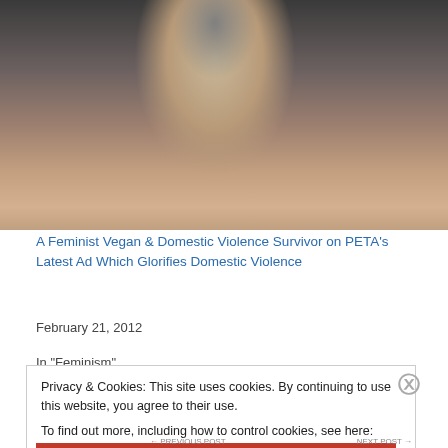[Figure (photo): Photo of a woman with long blonde hair wearing a neck brace/cervical collar, shown from shoulders up against a dark background.]
A Feminist Vegan & Domestic Violence Survivor on PETA's Latest Ad Which Glorifies Domestic Violence
February 21, 2012
In "Feminism"
Privacy & Cookies: This site uses cookies. By continuing to use this website, you agree to their use.
To find out more, including how to control cookies, see here: Cookie Policy
Close and accept